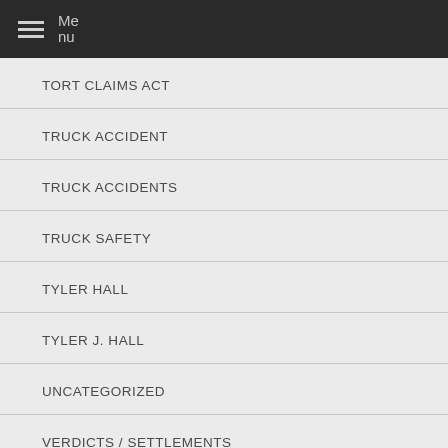Menu
TORT CLAIMS ACT
TRUCK ACCIDENT
TRUCK ACCIDENTS
TRUCK SAFETY
TYLER HALL
TYLER J. HALL
UNCATEGORIZED
VERDICTS / SETTLEMENTS
VIDEOS
WORK INJURIES